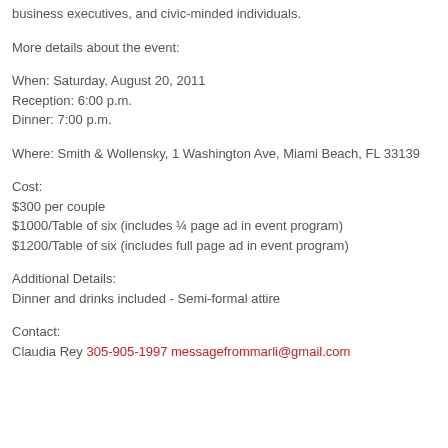business executives, and civic-minded individuals.
More details about the event:
When: Saturday, August 20, 2011
Reception: 6:00 p.m.
Dinner: 7:00 p.m.
Where: Smith & Wollensky, 1 Washington Ave, Miami Beach, FL 33139
Cost:
$300 per couple
$1000/Table of six (includes ¼ page ad in event program)
$1200/Table of six (includes full page ad in event program)
Additional Details:
Dinner and drinks included - Semi-formal attire
Contact:
Claudia Rey 305-905-1997 messagefrommarli@gmail.com